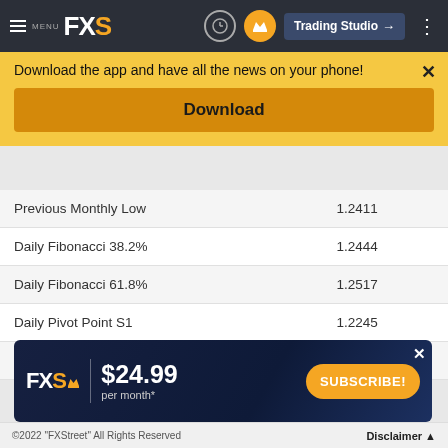MENU FXS | Trading Studio
Download the app and have all the news on your phone!
Download
|  |  |
| --- | --- |
| Previous Monthly Low | 1.2411 |
| Daily Fibonacci 38.2% | 1.2444 |
| Daily Fibonacci 61.8% | 1.2517 |
| Daily Pivot Point S1 | 1.2245 |
| Daily Pivot Point S2 | 1.2129 |
[Figure (screenshot): FXStreet premium subscription ad banner: FXS logo, $24.99 per month*, SUBSCRIBE! button on dark blue background]
©2022 "FXStreet" All Rights Reserved   Disclaimer ▲